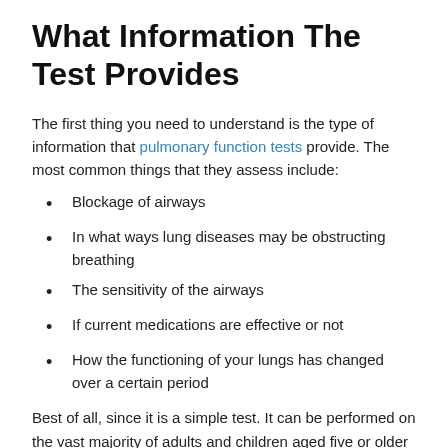What Information The Test Provides
The first thing you need to understand is the type of information that pulmonary function tests provide. The most common things that they assess include:
Blockage of airways
In what ways lung diseases may be obstructing breathing
The sensitivity of the airways
If current medications are effective or not
How the functioning of your lungs has changed over a certain period
Best of all, since it is a simple test. It can be performed on the vast majority of adults and children aged five or older